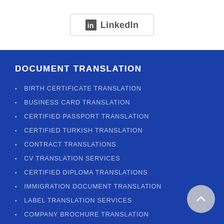[Figure (logo): LinkedIn button/logo with border]
DOCUMENT TRANSLATION
BIRTH CERTIFICATE TRANSLATION
BUSINESS CARD TRANSLATION
CERTIFIED PASSPORT TRANSLATION
CERTIFIED TURKISH TRANSLATION
CONTRACT TRANSLATIONS
CV TRANSLATION SERVICES
CERTIFIED DIPLOMA TRANSLATIONS
IMMIGRATION DOCUMENT TRANSLATION
LABEL TRANSLATION SERVICES
COMPANY BROCHURE TRANSLATION